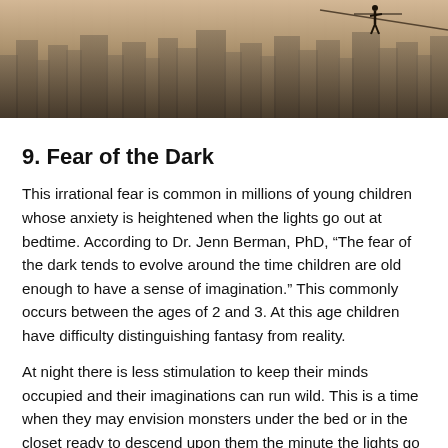[Figure (photo): Aerial photo of a city skyline viewed from above, with a person visible at the top right walking on a beam or wire against the urban backdrop, with a warm sepia/vintage tone.]
9. Fear of the Dark
This irrational fear is common in millions of young children whose anxiety is heightened when the lights go out at bedtime. According to Dr. Jenn Berman, PhD, “The fear of the dark tends to evolve around the time children are old enough to have a sense of imagination.” This commonly occurs between the ages of 2 and 3. At this age children have difficulty distinguishing fantasy from reality.
At night there is less stimulation to keep their minds occupied and their imaginations can run wild. This is a time when they may envision monsters under the bed or in the closet ready to descend upon them the minute the lights go out. Leaving a light on in the hall or a night light in the room can be helpful measures parents can employ. Restricting TV time and carefully